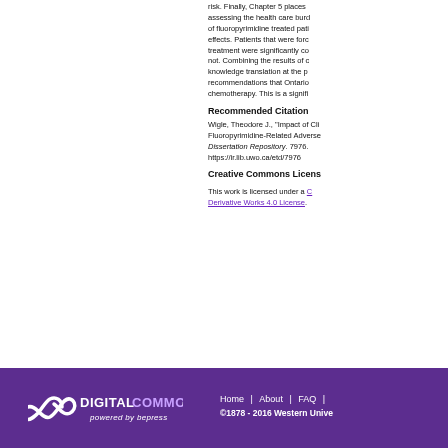risk. Finally, Chapter 5 places assessing the health care burden of fluoropyrimidine treated patients effects. Patients that were forced to stop treatment were significantly compared to those who did not. Combining the results of our studies, knowledge translation at the policy level recommendations that Ontario administer chemotherapy. This is a significant...
Recommended Citation
Wigle, Theodore J., "Impact of Clinical Pharmacogenomics on Fluoropyrimidine-Related Adverse Events". Dissertation Repository. 7976. https://ir.lib.uwo.ca/etd/7976
Creative Commons License
This work is licensed under a Creative Commons Attribution-Noncommercial-No Derivative Works 4.0 License.
Digital Commons powered by bepress | Home | About | FAQ | ©1878 - 2016 Western University